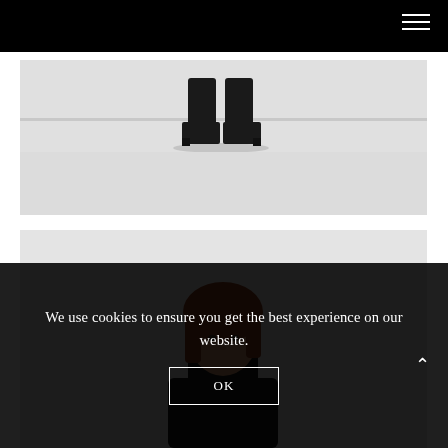[Figure (photo): Black top navigation bar with hamburger menu icon (three horizontal white lines) in the top right corner]
[Figure (photo): Photo of person's legs from knees down wearing black ankle boots, standing on a white floor against a white wall, light gray background]
[Figure (photo): Photo of a woman with red hair wearing a black turtleneck, visible from shoulders up, against a white background]
We use cookies to ensure you get the best experience on our website.
OK